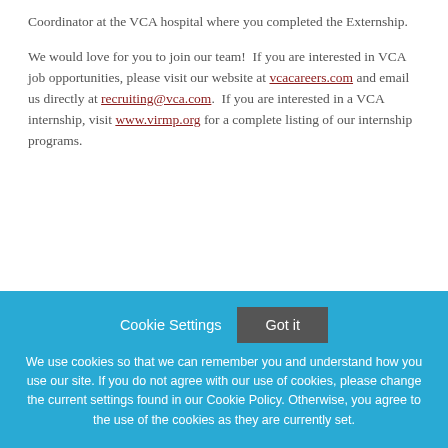Coordinator at the VCA hospital where you completed the Externship.
We would love for you to join our team! If you are interested in VCA job opportunities, please visit our website at vcacareers.com and email us directly at recruiting@vca.com. If you are interested in a VCA internship, visit www.virmp.org for a complete listing of our internship programs.
Cookie Settings | Got it
We use cookies so that we can remember you and understand how you use our site. If you do not agree with our use of cookies, please change the current settings found in our Cookie Policy. Otherwise, you agree to the use of the cookies as they are currently set.